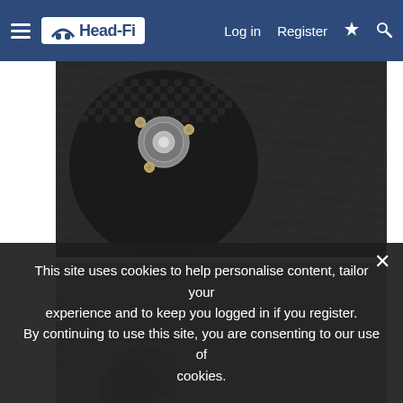Head-Fi — Log in  Register
[Figure (photo): Close-up photograph of dark textured fabric or fur material with a carbon fiber headphone part (cup with screws) visible in the upper-left corner]
[Figure (photo): Close-up photograph of lighter grey textured fabric/material (partial view, bottom of page)]
This site uses cookies to help personalise content, tailor your experience and to keep you logged in if you register. By continuing to use this site, you are consenting to our use of cookies.